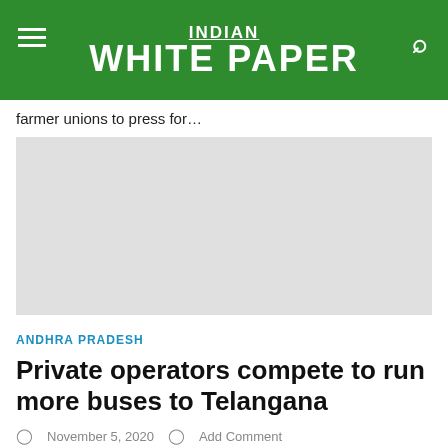INDIAN WHITE PAPER
farmer unions to press for…
[Figure (other): Advertisement placeholder — light grey rectangle]
ANDHRA PRADESH
Private operators compete to run more buses to Telangana
November 5, 2020   Add Comment
VIJAYAWADA: An inter-state agreement entered between Road Transport...